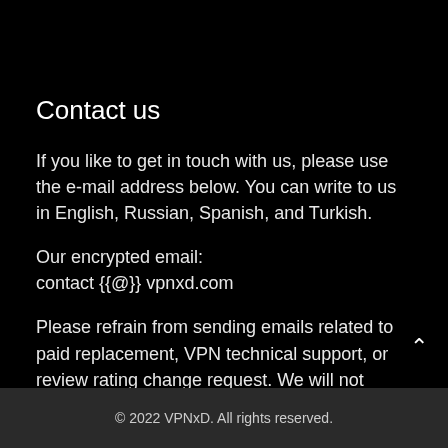Contact us
If you like to get in touch with us, please use the e-mail address below. You can write to us in English, Russian, Spanish, and Turkish.
Our encrypted email:
contact {{@}} vpnxd.com
Please refrain from sending emails related to paid replacement, VPN technical support, or review rating change request. We will not answer these e-mails.
© 2022 VPNxD. All rights reserved.